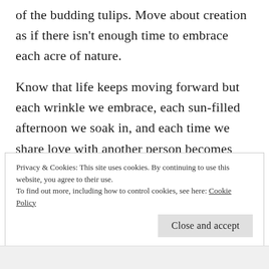of the budding tulips. Move about creation as if there isn't enough time to embrace each acre of nature.
Know that life keeps moving forward but each wrinkle we embrace, each sun-filled afternoon we soak in, and each time we share love with another person becomes part of our eternal selves.
Privacy & Cookies: This site uses cookies. By continuing to use this website, you agree to their use.
To find out more, including how to control cookies, see here: Cookie Policy
Close and accept